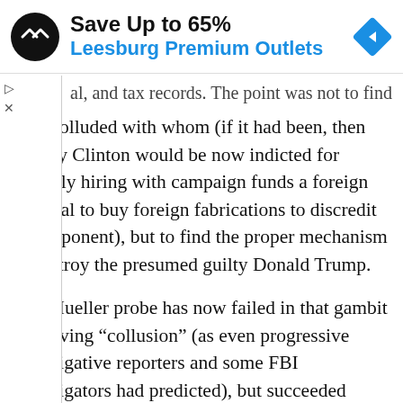[Figure (screenshot): Advertisement banner: Save Up to 65% Leesburg Premium Outlets with logo and arrow icon]
al, and tax records. The point was not to find who colluded with whom (if it had been, then Hillary Clinton would be now indicted for illegally hiring with campaign funds a foreign national to buy foreign fabrications to discredit her opponent), but to find the proper mechanism to destroy the presumed guilty Donald Trump.
The Mueller probe has now failed in that gambit of proving “collusion” (as even progressive investigative reporters and some FBI investigators had predicted), but succeeded brilliantly in two ways.
The “countertelligence” investigation